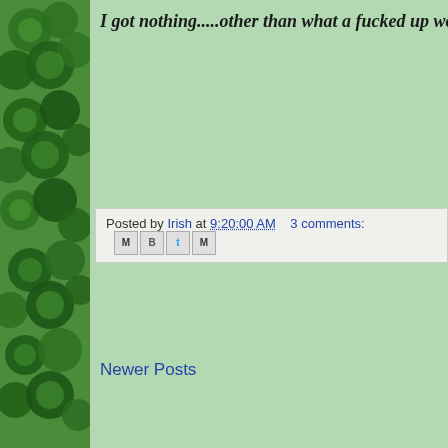I got nothing.....other than what a fucked up worl
Posted by Irish at 9:20:00 AM    3 comments:
Newer Posts
Subscribe to: Posts (Atom)
Legal Bullshit
FAIR USE NOTICE: This site may contain copyrighted m nudity, video snippets and commentary from various sour authorized by the copyright owner. Such material is poste understanding and discussion of environmental, political,